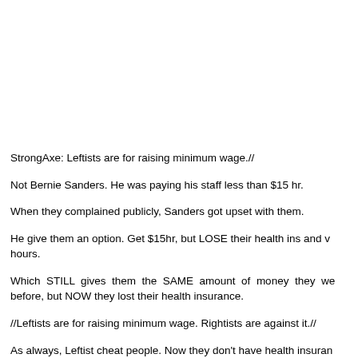StrongAxe: Leftists are for raising minimum wage.//
Not Bernie Sanders. He was paying his staff less than $15 hr.
When they complained publicly, Sanders got upset with them.
He give them an option. Get $15hr, but LOSE their health ins and work fewer hours.
Which STILL gives them the SAME amount of money they were making before, but NOW they lost their health insurance.
//Leftists are for raising minimum wage. Rightists are against it.//
As always, Leftist cheat people. Now they don't have health insurance.
Maybe, they should move to California and pretend they are an immigrant and work under the table.